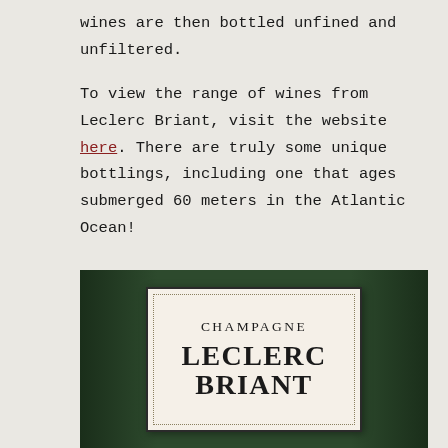wines are then bottled unfined and unfiltered.

To view the range of wines from Leclerc Briant, visit the website here. There are truly some unique bottlings, including one that ages submerged 60 meters in the Atlantic Ocean!
[Figure (photo): Close-up photograph of a Champagne Leclerc Briant bottle label. The label shows 'CHAMPAGNE' in spaced serif letters and 'LECLERC BRIANT' in large bold serif letters below, on a cream/beige background with a dark border and dotted inner frame. Dark green foliage visible in the background.]